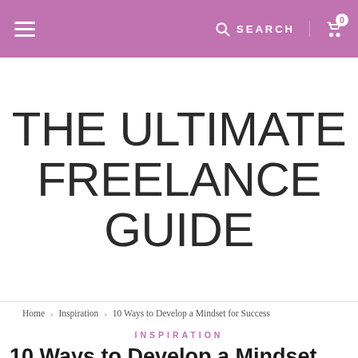☰  SEARCH  🛒 0
THE ULTIMATE FREELANCE GUIDE
Home › Inspiration › 10 Ways to Develop a Mindset for Success
INSPIRATION
10 Ways to Develop a Mindset